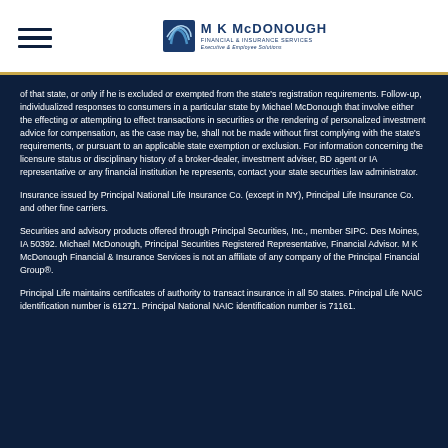MK McDonough Financial & Insurance Services — Executive & Employee Solutions
of that state, or only if he is excluded or exempted from the state's registration requirements. Follow-up, individualized responses to consumers in a particular state by Michael McDonough that involve either the effecting or attempting to effect transactions in securities or the rendering of personalized investment advice for compensation, as the case may be, shall not be made without first complying with the state's requirements, or pursuant to an applicable state exemption or exclusion. For information concerning the licensure status or disciplinary history of a broker-dealer, investment adviser, BD agent or IA representative or any financial institution he represents, contact your state securities law administrator.
Insurance issued by Principal National Life Insurance Co. (except in NY), Principal Life Insurance Co. and other fine carriers.
Securities and advisory products offered through Principal Securities, Inc., member SIPC. Des Moines, IA 50392. Michael McDonough, Principal Securities Registered Representative, Financial Advisor. M K McDonough Financial & Insurance Services is not an affiliate of any company of the Principal Financial Group®.
Principal Life maintains certificates of authority to transact insurance in all 50 states. Principal Life NAIC identification number is 61271. Principal National NAIC identification number is 71161.